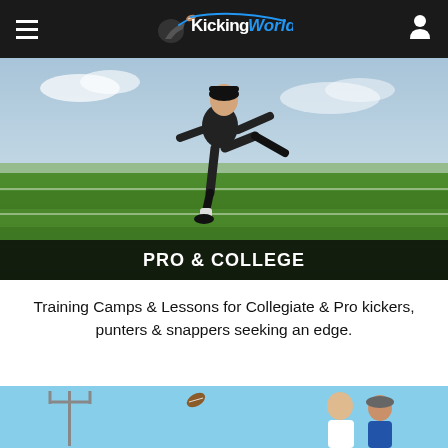KickingWorld
[Figure (photo): A football kicker wearing black uniform mid-kick on a green turf field with a cloudy sky background. Overlaid at the bottom with a dark band reading PRO & COLLEGE.]
PRO & COLLEGE
Training Camps & Lessons for Collegiate & Pro kickers, punters & snappers seeking an edge.
[Figure (photo): Two people on a football field under a blue sky, with a football visible in the air and goalposts in the background.]